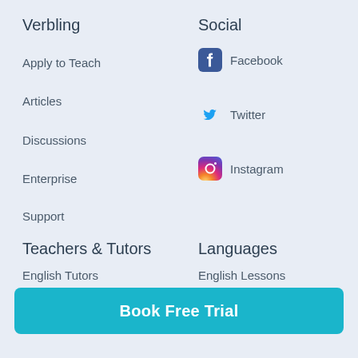Verbling
Apply to Teach
Articles
Discussions
Enterprise
Support
Social
Facebook
Twitter
Instagram
Teachers & Tutors
English Tutors
Spanish Tutors
French Tutors
Languages
English Lessons
Spanish Lessons
French Lessons
Book Free Trial
Arabic Tutors
Arabic Lessons